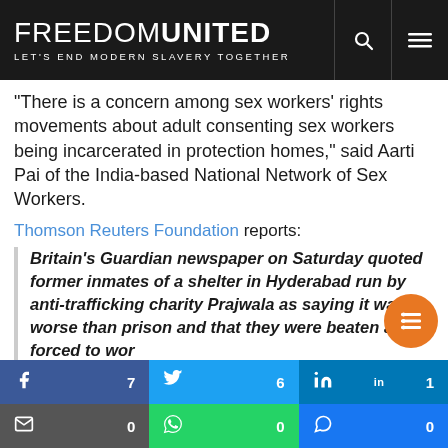FREEDOM UNITED — LET'S END MODERN SLAVERY TOGETHER
“There is a concern among sex workers’ rights movements about adult consenting sex workers being incarcerated in protection homes,” said Aarti Pai of the India-based National Network of Sex Workers.
Thomson Reuters Foundation reports:
Britain’s Guardian newspaper on Saturday quoted former inmates of a shelter in Hyderabad run by anti-trafficking charity Prajwala as saying it was worse than prison and that they were beaten and forced to work unpaid.